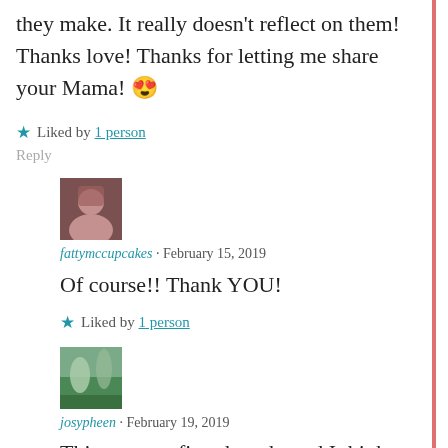they make. It really doesn't reflect on them! Thanks love! Thanks for letting me share your Mama! 😍
★ Liked by 1 person
Reply
[Figure (photo): Avatar image of fattymccupcakes user]
fattymccupcakes · February 15, 2019
Of course!! Thank YOU!
★ Liked by 1 person
[Figure (photo): Avatar image of josypheen user - landscape with mountains and green field]
josypheen · February 19, 2019
This was my first thought and I think...